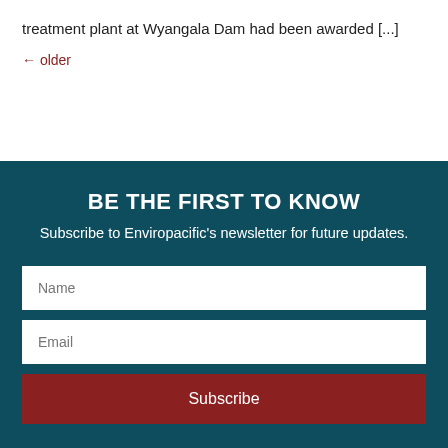treatment plant at Wyangala Dam had been awarded [...]
← older
BE THE FIRST TO KNOW
Subscribe to Enviropacific's newsletter for future updates.
Name
Email
Subscribe